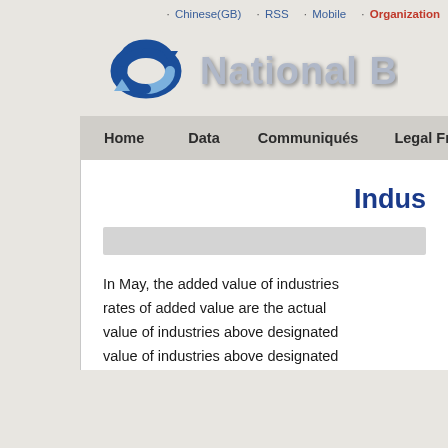· Chinese(GB)  · RSS  · Mobile  · Organization
[Figure (logo): National Bureau of Statistics of China logo with blue circular arrow icon and 'National' text in gray]
Home  Data  Communiqués  Legal Fra...
Indus...
In May, the added value of industries... rates of added value are the actual... value of industries above designated... value of industries above designated...